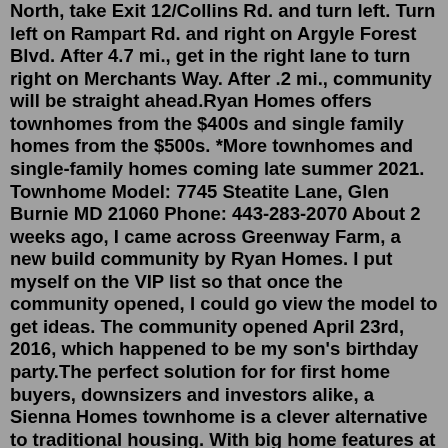North, take Exit 12/Collins Rd. and turn left. Turn left on Rampart Rd. and right on Argyle Forest Blvd. After 4.7 mi., get in the right lane to turn right on Merchants Way. After .2 mi., community will be straight ahead.Ryan Homes offers townhomes from the $400s and single family homes from the $500s. *More townhomes and single-family homes coming late summer 2021. Townhome Model: 7745 Steatite Lane, Glen Burnie MD 21060 Phone: 443-283-2070 About 2 weeks ago, I came across Greenway Farm, a new build community by Ryan Homes. I put myself on the VIP list so that once the community opened, I could go view the model to get ideas. The community opened April 23rd, 2016, which happened to be my son's birthday party.The perfect solution for for first home buyers, downsizers and investors alike, a Sienna Homes townhome is a clever alternative to traditional housing. With big home features at small home prices and quality fittings & fixtures by some of Australia's most trusted brands, a Sienna Homes townhome ticks all the finer details in building lifestyle. Now from...